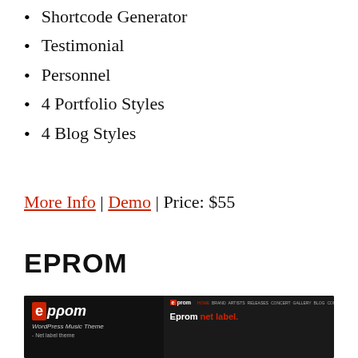Shortcode Generator
Testimonial
Personnel
4 Portfolio Styles
4 Blog Styles
More Info | Demo | Price: $55
EPROM
[Figure (screenshot): Screenshot of EPROM WordPress Music Theme website showing dark theme with logo, navigation bar, and 'Eprom net label.' text on right side]